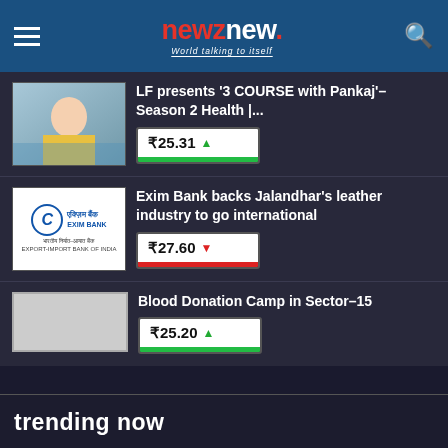newznew. - World talking to itself
[Figure (screenshot): Thumbnail image of a woman in a kitchen/cooking show setting]
LF presents '3 COURSE with Pankaj'– Season 2 Health |...
₹25.31 ▲
[Figure (logo): Exim Bank logo - Export-Import Bank of India]
Exim Bank backs Jalandhar's leather industry to go international
₹27.60 ▼
[Figure (photo): Small placeholder thumbnail]
Blood Donation Camp in Sector–15
₹25.20 ▲
trending now